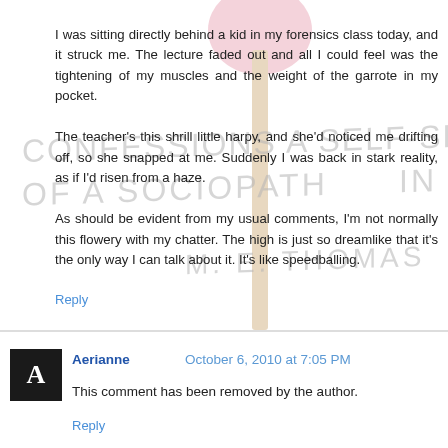I was sitting directly behind a kid in my forensics class today, and it struck me. The lecture faded out and all I could feel was the tightening of my muscles and the weight of the garrote in my pocket.
The teacher's this shrill little harpy, and she'd noticed me drifting off, so she snapped at me. Suddenly I was back in stark reality, as if I'd risen from a haze.
As should be evident from my usual comments, I'm not normally this flowery with my chatter. The high is just so dreamlike that it's the only way I can talk about it. It's like speedballing.
Reply
Aerianne  October 6, 2010 at 7:05 PM
This comment has been removed by the author.
Reply